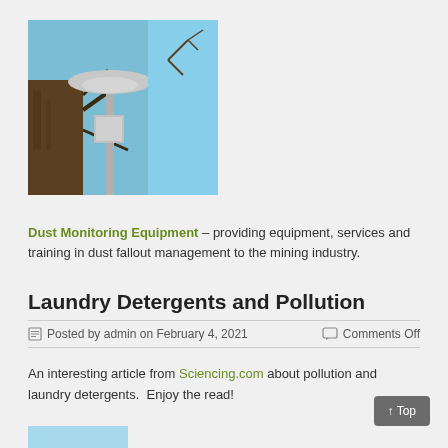[Figure (photo): Outdoor photo of a dust monitoring device mounted on a pole attached to a tree, with blue sky in background]
Dust Monitoring Equipment – providing equipment, services and training in dust fallout management to the mining industry.
Laundry Detergents and Pollution
Posted by admin on February 4, 2021    Comments Off
An interesting article from Sciencing.com about pollution and laundry detergents.  Enjoy the read!